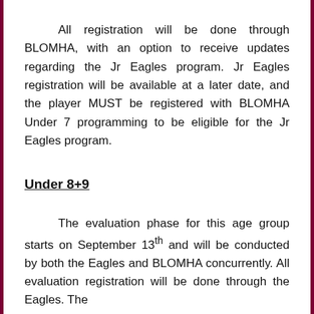All registration will be done through BLOMHA, with an option to receive updates regarding the Jr Eagles program. Jr Eagles registration will be available at a later date, and the player MUST be registered with BLOMHA Under 7 programming to be eligible for the Jr Eagles program.
Under 8+9
The evaluation phase for this age group starts on September 13th and will be conducted by both the Eagles and BLOMHA concurrently. All evaluation registration will be done through the Eagles. The Eagles will also fee...